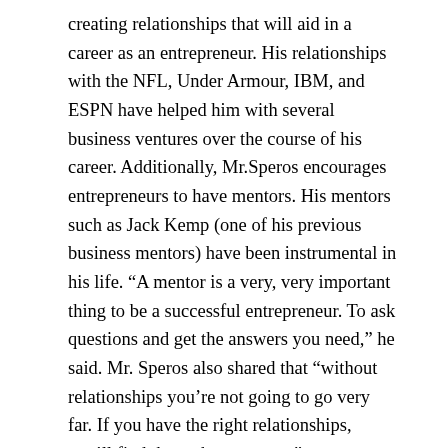creating relationships that will aid in a career as an entrepreneur. His relationships with the NFL, Under Armour, IBM, and ESPN have helped him with several business ventures over the course of his career. Additionally, Mr.Speros encourages entrepreneurs to have mentors. His mentors such as Jack Kemp (one of his previous business mentors) have been instrumental in his life. “A mentor is a very, very important thing to be a successful entrepreneur. To ask questions and get the answers you need,” he said. Mr. Speros also shared that “without relationships you’re not going to go very far. If you have the right relationships, you’ll find the path to success.”
Mr.Speros had an incredible amount of